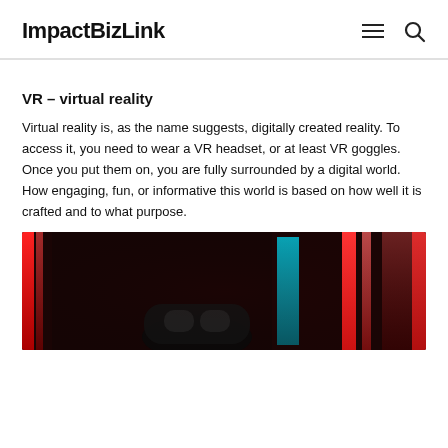ImpactBizLink
VR – virtual reality
Virtual reality is, as the name suggests, digitally created reality. To access it, you need to wear a VR headset, or at least VR goggles. Once you put them on, you are fully surrounded by a digital world. How engaging, fun, or informative this world is based on how well it is crafted and to what purpose.
[Figure (photo): A VR headset photographed in a neon-lit environment with red and cyan neon lights in the background, dark atmospheric photo.]